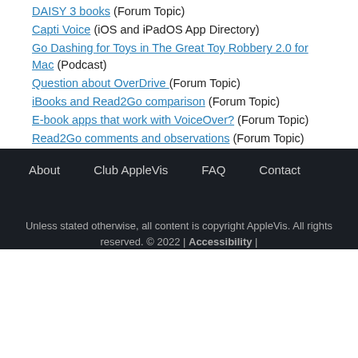DAISY 3 books (Forum Topic)
Capti Voice (iOS and iPadOS App Directory)
Go Dashing for Toys in The Great Toy Robbery 2.0 for Mac (Podcast)
Question about OverDrive (Forum Topic)
iBooks and Read2Go comparison (Forum Topic)
E-book apps that work with VoiceOver? (Forum Topic)
Read2Go comments and observations (Forum Topic)
About   Club AppleVis   FAQ   Contact
Unless stated otherwise, all content is copyright AppleVis. All rights reserved. © 2022 | Accessibility |